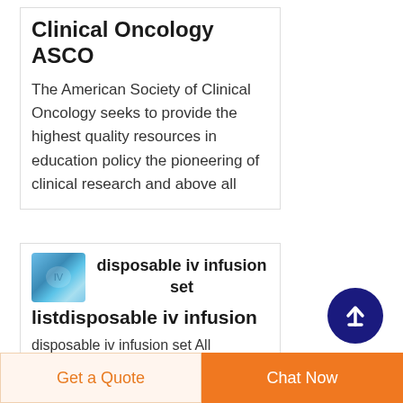Clinical Oncology ASCO
The American Society of Clinical Oncology seeks to provide the highest quality resources in education policy the pioneering of clinical research and above all
[Figure (photo): Blue IV infusion set product image thumbnail]
disposable iv infusion set listdisposable iv infusion
disposable iv infusion set All disposable iv infusion set
[Figure (other): Dark blue circular scroll-to-top button with upward arrow icon]
Get a Quote   Chat Now